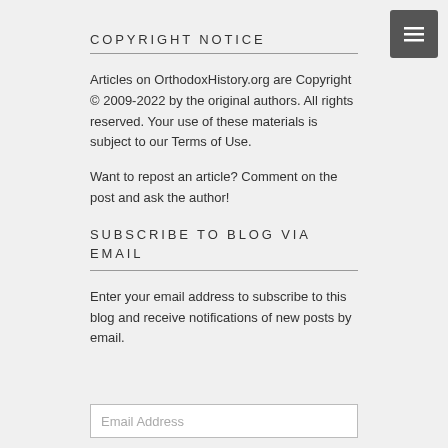COPYRIGHT NOTICE
Articles on OrthodoxHistory.org are Copyright © 2009-2022 by the original authors. All rights reserved. Your use of these materials is subject to our Terms of Use.
Want to repost an article? Comment on the post and ask the author!
SUBSCRIBE TO BLOG VIA EMAIL
Enter your email address to subscribe to this blog and receive notifications of new posts by email.
Email Address